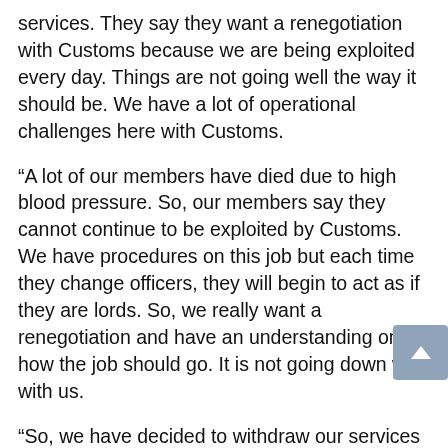services. They say they want a renegotiation with Customs because we are being exploited every day. Things are not going well the way it should be. We have a lot of operational challenges here with Customs.
“A lot of our members have died due to high blood pressure. So, our members say they cannot continue to be exploited by Customs. We have procedures on this job but each time they change officers, they will begin to act as if they are lords. So, we really want a renegotiation and have an understanding on how the job should go. It is not going down well with us.
“So, we have decided to withdraw our services today so that we can have meaningful engagement with Customs for them to harmonise operational procedures and address the challenges. We are hoping that they will look into these issues,” he said.
He said the withdrawal of service was a decision by the three freight forwarding associations including AFFFN…